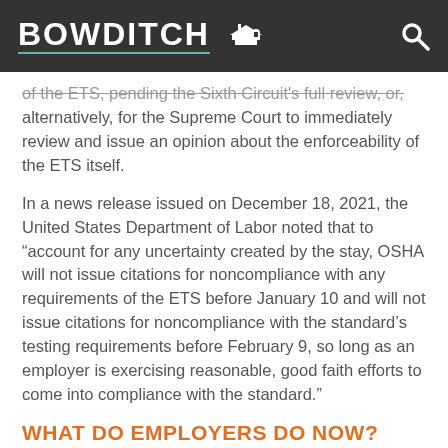BOWDITCH
of the ETS, pending the Sixth Circuit's full review, or, alternatively, for the Supreme Court to immediately review and issue an opinion about the enforceability of the ETS itself.
In a news release issued on December 18, 2021, the United States Department of Labor noted that to “account for any uncertainty created by the stay, OSHA will not issue citations for noncompliance with any requirements of the ETS before January 10 and will not issue citations for noncompliance with the standard’s testing requirements before February 9, so long as an employer is exercising reasonable, good faith efforts to come into compliance with the standard.”
WHAT DO EMPLOYERS DO NOW?